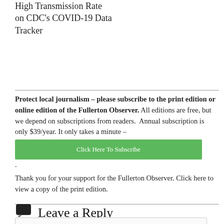High Transmission Rate on CDC's COVID-19 Data Tracker
Protect local journalism – please subscribe to the print edition or online edition of the Fullerton Observer. All editions are free, but we depend on subscriptions from readers.  Annual subscription is only $39/year. It only takes a minute – Click Here To Subscribe. Thank you for your support for the Fullerton Observer. Click here to view a copy of the print edition.
Leave a Reply
Enter your comment here